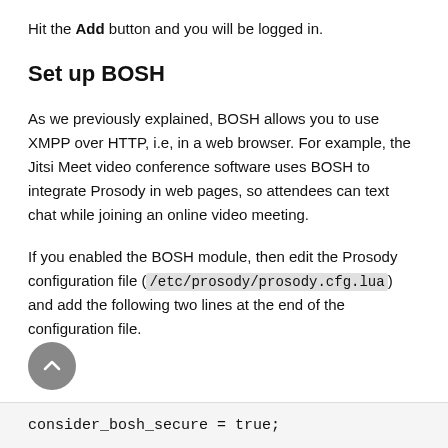Hit the Add button and you will be logged in.
Set up BOSH
As we previously explained, BOSH allows you to use XMPP over HTTP, i.e, in a web browser. For example, the Jitsi Meet video conference software uses BOSH to integrate Prosody in web pages, so attendees can text chat while joining an online video meeting.
If you enabled the BOSH module, then edit the Prosody configuration file (/etc/prosody/prosody.cfg.lua) and add the following two lines at the end of the configuration file.
consider_bosh_secure = true;